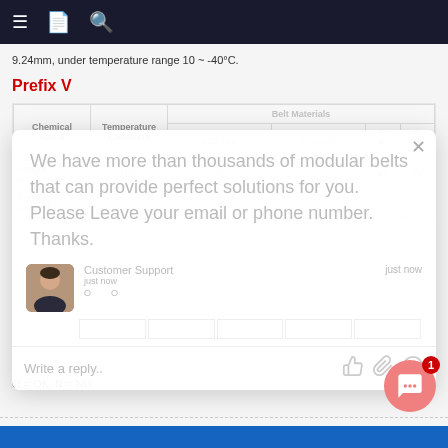Navigation bar with menu, document, and search icons
9.24mm, under temperature range 10 ~ -40°C.
Prefix V
| Chemical Name | Temperature Condition | Belt Materials | ACETAL | NYLON | P.E.P. |
| --- | --- | --- | --- | --- | --- |
| Acegar Ili | 21°C |  | N |  | O | O |
| Agitated Aerated |  |  |  |  |  |  |
[Figure (screenshot): Chat modal overlay with message: We have more than thousands of modular belts that can provide perfect solutions for you. Please Leave your email or phone number. Thanks. Agent labeled Customer Support, timestamp just now, with reply input field and icons.]
O = OK, N = NO
Blue footer bar at bottom of page